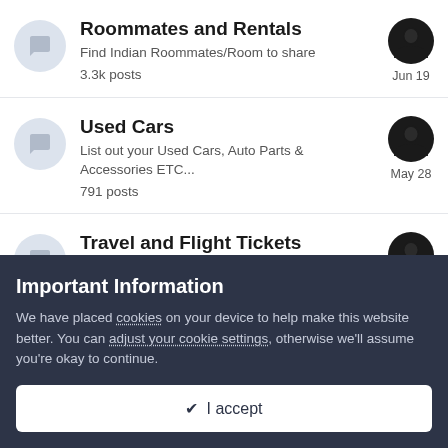Roommates and Rentals
Find Indian Roommates/Room to share
3.3k posts
Jun 19
Used Cars
List out your Used Cars, Auto Parts & Accessories ETC...
791 posts
May 28
Travel and Flight Tickets
Find great travel deals and discounts on hotels,
Important Information
We have placed cookies on your device to help make this website better. You can adjust your cookie settings, otherwise we'll assume you're okay to continue.
✔ I accept